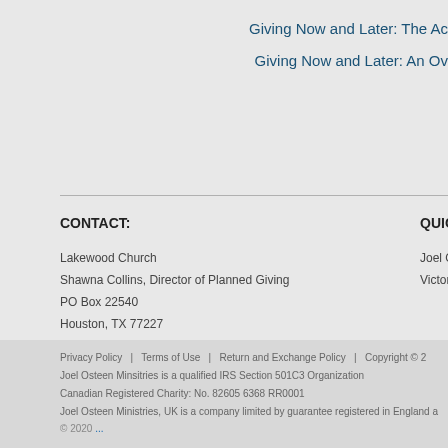Giving Now and Later: The Ac
Giving Now and Later: An Ov
CONTACT:
Lakewood Church
Shawna Collins, Director of Planned Giving
PO Box 22540
Houston, TX 77227
713-491-1200
shawna@lakewood.cc
QUICK LINKS:
Joel Osteen
Victoria Osteen
Privacy Policy   |   Terms of Use   |   Return and Exchange Policy   |   Copyright © 2
Joel Osteen Minsitries is a qualified IRS Section 501C3 Organization
Canadian Registered Charity: No. 82605 6368 RR0001
Joel Osteen Ministries, UK is a company limited by guarantee registered in England a
© 2020 ...